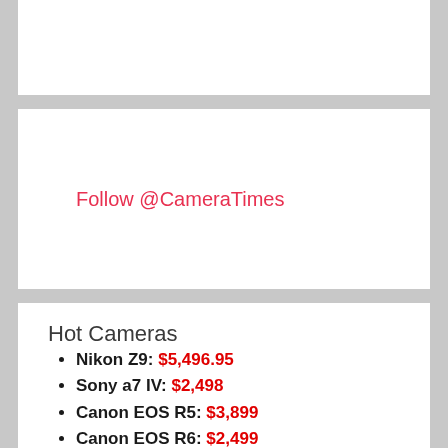Follow @CameraTimes
Hot Cameras
Nikon Z9: $5,496.95
Sony a7 IV: $2,498
Canon EOS R5: $3,899
Canon EOS R6: $2,499
Fujifilm X-T4: $1,699
Panasonic S5: $1,998
Sony a7C: $1,798